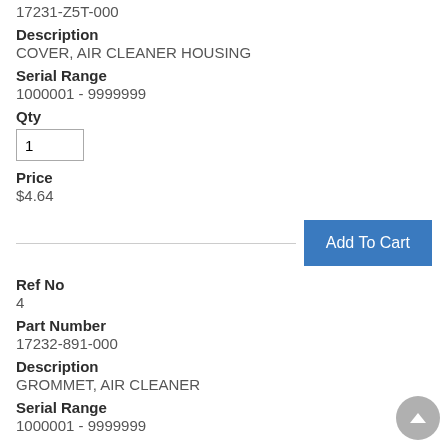17231-Z5T-000
Description
COVER, AIR CLEANER HOUSING
Serial Range
1000001 - 9999999
Qty
1
Price
$4.64
Add To Cart
Ref No
4
Part Number
17232-891-000
Description
GROMMET, AIR CLEANER
Serial Range
1000001 - 9999999